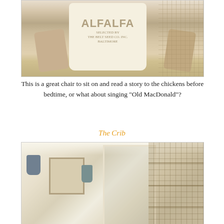[Figure (photo): A rustic armchair with an alfalfa seed sack sitting on it, decorated with chicken wire and burlap, vintage farmhouse style]
This is a great chair to sit on and read a story to the chickens before bedtime, or what about singing “Old MacDonald”?
The Crib
[Figure (photo): Interior of a decorated chicken coop styled like a home, with white walls, framed pictures, decorative wall vases, shelving, wire mesh panels, and string lights on the ceiling]